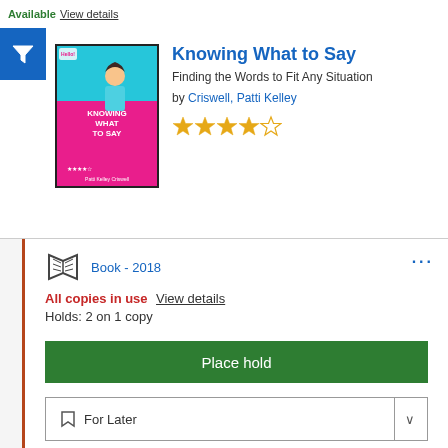Available View details
[Figure (screenshot): Blue filter/funnel icon button]
[Figure (illustration): Book cover for 'Knowing What to Say' - pink cover with cartoon girl]
Knowing What to Say
Finding the Words to Fit Any Situation
by Criswell, Patti Kelley
[Figure (other): 4 out of 5 stars rating]
Book - 2018
All copies in use View details
Holds: 2 on 1 copy
Place hold
For Later